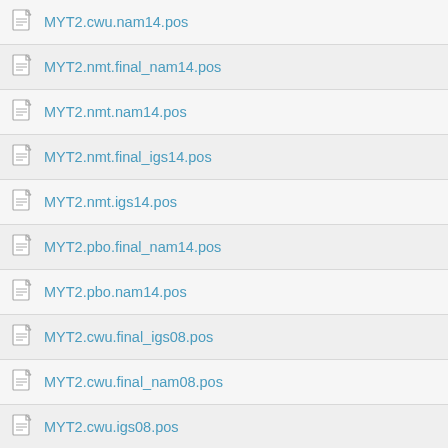MYT2.cwu.nam14.pos
MYT2.nmt.final_nam14.pos
MYT2.nmt.nam14.pos
MYT2.nmt.final_igs14.pos
MYT2.nmt.igs14.pos
MYT2.pbo.final_nam14.pos
MYT2.pbo.nam14.pos
MYT2.cwu.final_igs08.pos
MYT2.cwu.final_nam08.pos
MYT2.cwu.igs08.pos
MYT2.cwu.nam08.pos